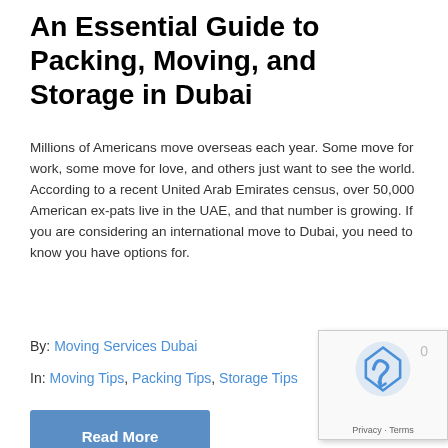An Essential Guide to Packing, Moving, and Storage in Dubai
Millions of Americans move overseas each year. Some move for work, some move for love, and others just want to see the world. According to a recent United Arab Emirates census, over 50,000 American ex-pats live in the UAE, and that number is growing. If you are considering an international move to Dubai, you need to know you have options for.
By: Moving Services Dubai
In: Moving Tips, Packing Tips, Storage Tips
Read More